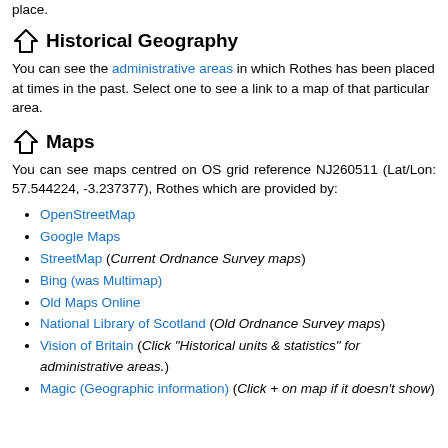place.
Historical Geography
You can see the administrative areas in which Rothes has been placed at times in the past. Select one to see a link to a map of that particular area.
Maps
You can see maps centred on OS grid reference NJ260511 (Lat/Lon: 57.544224, -3.237377), Rothes which are provided by:
OpenStreetMap
Google Maps
StreetMap (Current Ordnance Survey maps)
Bing (was Multimap)
Old Maps Online
National Library of Scotland (Old Ordnance Survey maps)
Vision of Britain (Click "Historical units & statistics" for administrative areas.)
Magic (Geographic information) (Click + on map if it doesn't show)